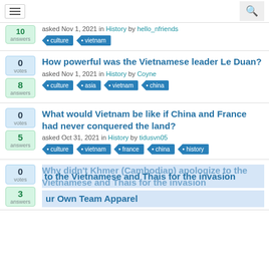Navigation and search bar
asked Nov 1, 2021 in History by hello_nfriends
culture, vietnam
How powerful was the Vietnamese leader Le Duan?
asked Nov 1, 2021 in History by Coyne
culture, asia, vietnam, china
What would Vietnam be like if China and France had never conquered the land?
asked Oct 31, 2021 in History by tidusvn05
culture, vietnam, france, china, history
Why didn't Khmer (Cambodian) apologize to the Vietnamese and Thais for the invasion